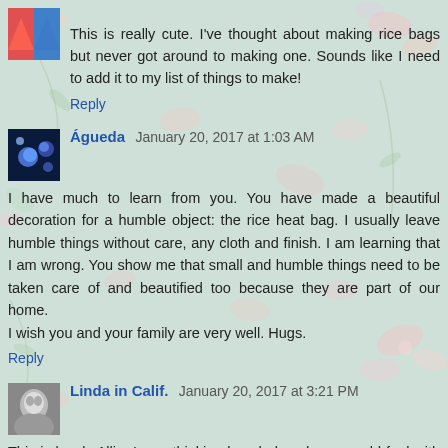[Figure (illustration): Small colorful avatar icon (red/blue design) for first commenter]
This is really cute. I've thought about making rice bags but never got around to making one. Sounds like I need to add it to my list of things to make!
Reply
[Figure (photo): Small avatar photo showing blue/space themed image for commenter Águeda]
Águeda  January 20, 2017 at 1:03 AM
I have much to learn from you. You have made a beautiful decoration for a humble object: the rice heat bag. I usually leave humble things without care, any cloth and finish. I am learning that I am wrong. You show me that small and humble things need to be taken care of and beautified too because they are part of our home.
I wish you and your family are very well. Hugs.
Reply
[Figure (photo): Small avatar photo showing a person for commenter Linda in Calif.]
Linda in Calif.  January 20, 2017 at 3:21 PM
This is lovely Allie. I was thinking how beloved one would feel with a beautiful warm rice bag - this would make a